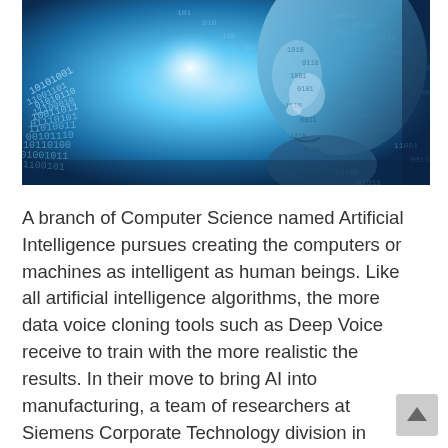[Figure (illustration): A digital AI / artificial intelligence concept image showing a futuristic blue robotic or humanoid face in profile on the right side, surrounded by streams of binary code (0s and 1s) on a blue glowing background converging toward a bright central light source.]
A branch of Computer Science named Artificial Intelligence pursues creating the computers or machines as intelligent as human beings. Like all artificial intelligence algorithms, the more data voice cloning tools such as Deep Voice receive to train with the more realistic the results. In their move to bring AI into manufacturing, a team of researchers at Siemens Corporate Technology division in Munich, Germany, announced in December they developed a two-armed